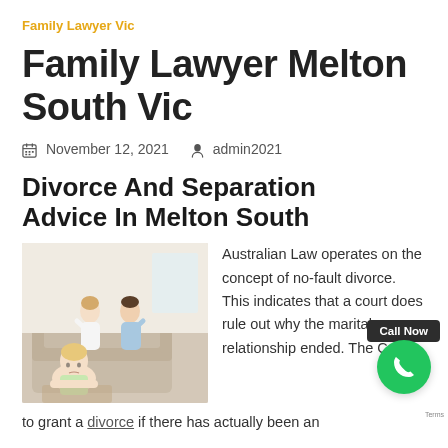Family Lawyer Vic
Family Lawyer Melton South Vic
November 12, 2021   admin2021
Divorce And Separation Advice In Melton South
[Figure (photo): A young girl lying down looking sad in the foreground, with a couple arguing in the background on a couch]
Australian Law operates on the concept of no-fault divorce. This indicates that a court does rule out why the marital relationship ended. The Court to grant a divorce if there has actually been an
to grant a divorce if there has actually been an